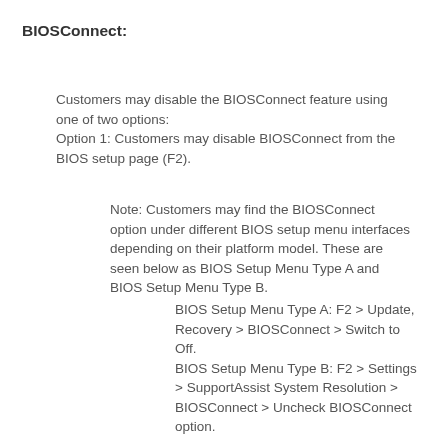BIOSConnect:
Customers may disable the BIOSConnect feature using one of two options:
Option 1: Customers may disable BIOSConnect from the BIOS setup page (F2).
Note: Customers may find the BIOSConnect option under different BIOS setup menu interfaces depending on their platform model. These are seen below as BIOS Setup Menu Type A and BIOS Setup Menu Type B.
BIOS Setup Menu Type A: F2 > Update, Recovery > BIOSConnect > Switch to Off.
BIOS Setup Menu Type B: F2 > Settings > SupportAssist System Resolution > BIOSConnect > Uncheck BIOSConnect option.